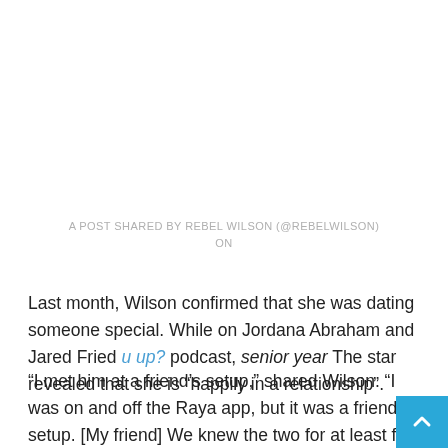A POST SHARED BY REBEL WILSON (@REBELWILSON) ON
Last month, Wilson confirmed that she was dating someone special. While on Jordana Abraham and Jared Fried u up? podcast, senior year The star revealed that she is “happily in a relationship”.
“I met him at a friend’s setup,” shared Wilson. “I was on and off the Raya app, but it was a friend setup. [My friend] We knew the two for at least five years and they thought we’d get over it – and then we did! I think it makes things go faster, meeting someone from a reliable source. I can trust they are what they